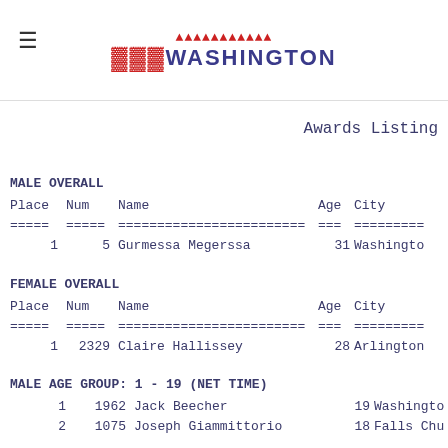WASHINGTON Awards Listing
Awards Listing
MALE  OVERALL
| Place | Num | Name | Age | City |
| --- | --- | --- | --- | --- |
| ===== | ===== | ======================== | === | ========= |
| 1 | 5 | Gurmessa Megerssa | 31 | Washingto |
FEMALE  OVERALL
| Place | Num | Name | Age | City |
| --- | --- | --- | --- | --- |
| ===== | ===== | ======================== | === | ========= |
| 1 | 2329 | Claire Hallissey | 28 | Arlington |
MALE  AGE  GROUP:  1 - 19    (NET TIME)
| 1 | 1962 | Jack Beecher | 19 | Washingto |
| 2 | 1075 | Joseph Giammittorio | 18 | Falls Chu |